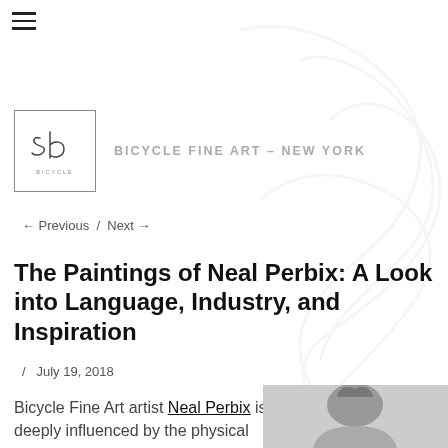≡
[Figure (logo): Bicycle Fine Art script logo in a square border, with decorative cursive 'sb' letters and 'BICYCLE' text below]
BICYCLE FINE ART – NEW YORK
← Previous / Next →
The Paintings of Neal Perbix: A Look into Language, Industry, and Inspiration
/ July 19, 2018
Bicycle Fine Art artist Neal Perbix is deeply influenced by the physical
[Figure (photo): Black and white photo of a man (Neal Perbix) with dark hair, partially visible at bottom right of the page]